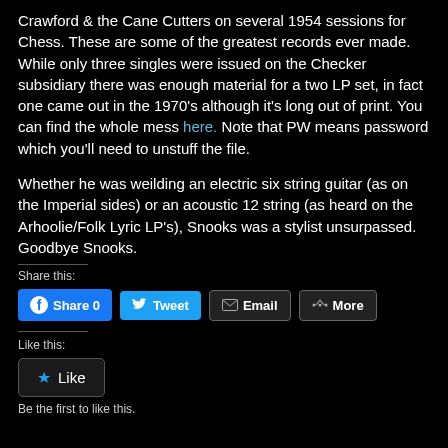Crawford & the Cane Cutters on several 1954 sessions for Chess. These are some of the greatest records ever made. While only three singles were issued on the Checker subsidiary there was enough material for a two LP set, in fact one came out in the 1970's although it's long out of print. You can find the whole mess here. Note that PW means password which you'll need to unstuff the file.
Whether he was weilding an electric six string guitar (as on the Imperial sides) or an acoustic 12 string (as heard on the Arhoolie/Folk Lyric LP's), Snooks was a stylist unsurpassed.  Goodbye Snooks.
Share this:
[Figure (screenshot): Social share buttons: Facebook Share 0, Tweet, Email, More]
Like this:
[Figure (screenshot): Like button widget]
Be the first to like this.